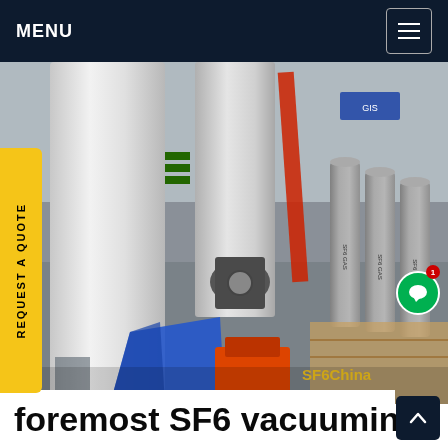MENU
[Figure (photo): Industrial SF6 gas insulated switchgear installation showing large white pipes/GIS tubes, SF6 gas cylinders on the right side, blue tarp and orange equipment at bottom, with SF6China watermark in lower right corner.]
REQUEST A QUOTE
foremost SF6 vacuuming